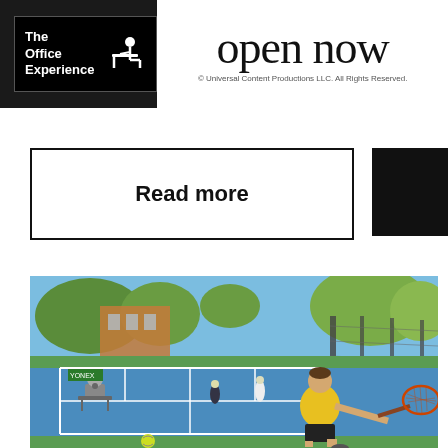[Figure (logo): The Office Experience logo with white text on black background and icon of person sitting at desk]
open now
© Universal Content Productions LLC. All Rights Reserved.
Read more
Book online
[Figure (photo): Outdoor tennis court scene with a man in yellow shirt lunging to hit a tennis ball with a racket; another player and ball machine visible in background; blue hard courts with green surroundings and urban buildings.]